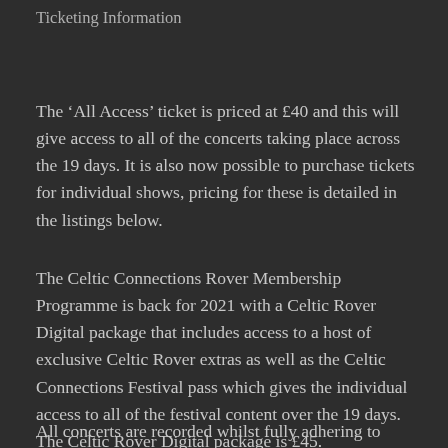Ticketing Information
The ‘All Access’ ticket is priced at £40 and this will give access to all of the concerts taking place across the 19 days. It is also now possible to purchase tickets for individual shows, pricing for these is detailed in the listings below.
The Celtic Connections Rover Membership Programme is back for 2021 with a Celtic Rover Digital package that includes access to a host of exclusive Celtic Rover extras as well as the Celtic Connections Festival pass which gives the individual access to all of the festival content over the 19 days. The Celtic Rover Digital package is £45.
All concerts are recorded whilst fully adhering to